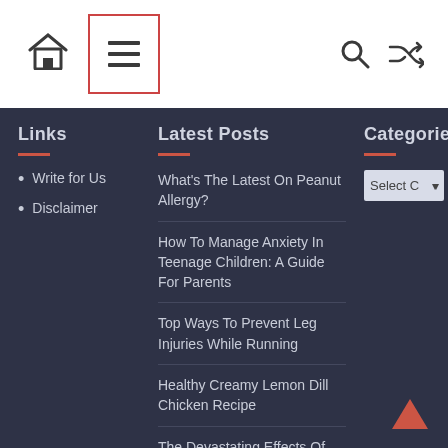Navigation header with home icon, hamburger menu (highlighted with red border), search icon, and shuffle icon
Links
Write for Us
Disclaimer
Latest Posts
What's The Latest On Peanut Allergy?
How To Manage Anxiety In Teenage Children: A Guide For Parents
Top Ways To Prevent Leg Injuries While Running
Healthy Creamy Lemon Dill Chicken Recipe
The Devastating Effects Of Alcohol
Categories